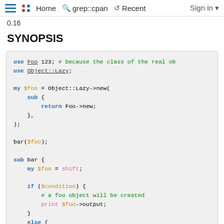Home  grep::cpan  Recent  Sign in
0.16
SYNOPSIS
use Foo 123; # because the class of the real ob
use Object::Lazy;

my $foo = Object::Lazy->new(
    sub {
        return Foo->new;
    },
);

bar($foo);

sub bar {
    my $foo = shift;

    if ($condition) {
        # a foo object will be created
        print $foo->output;
    }
    else {
        # foo object is not created